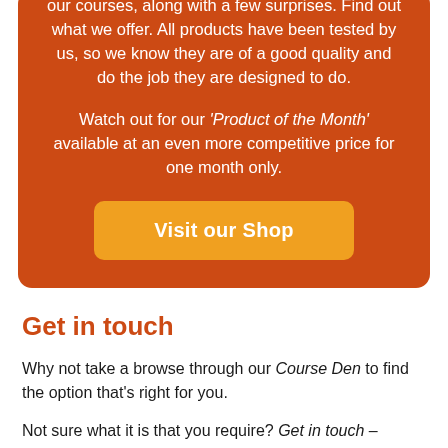our courses, along with a few surprises. Find out what we offer. All products have been tested by us, so we know they are of a good quality and do the job they are designed to do.
Watch out for our 'Product of the Month' available at an even more competitive price for one month only.
Visit our Shop
Get in touch
Why not take a browse through our Course Den to find the option that's right for you.
Not sure what it is that you require? Get in touch –